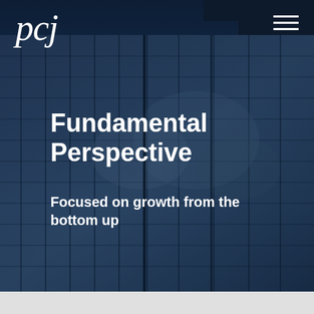[Figure (photo): Glass skyscraper facade reflecting blue sky and clouds, dark navy blue tint overlay]
pcj
Fundamental Perspective
Focused on growth from the bottom up